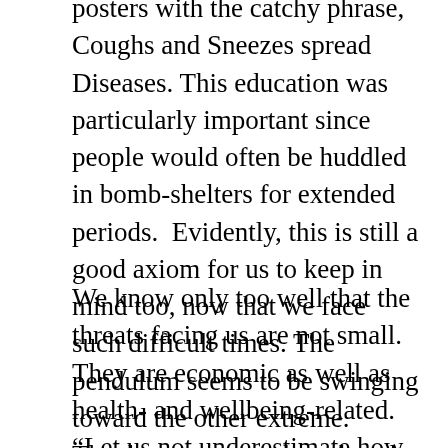posters with the catchy phrase, Coughs and Sneezes spread Diseases. This education was particularly important since people would often be huddled in bomb-shelters for extended periods.  Evidently, this is still a good axiom for us to keep in mind too, now that we face such difficult times. The pendulum seems to be swinging toward the other extreme.  Thanks to our greatly reduced transport by motor vehicles and an extensive suspension in air travel and tourism, even Mother Earth is having a break from our incessant fuming and polluting."
We know only too well that the threats facing us are not small.  They are economic as well as health- and wellbeing-related.  “Let us not underestimate how this can affect us and others in our country, to what extent and for how much longer.  What is lacking, perhaps, is a sense of urgency amongst many whose habitual irresponsible nature compels them to abuse their freedom, breaking rules and increasing the risk for